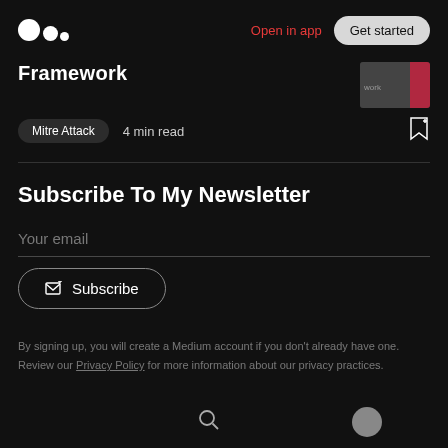Medium logo | Open in app | Get started
Framework
Mitre Attack   4 min read
Subscribe To My Newsletter
Your email
Subscribe
By signing up, you will create a Medium account if you don't already have one. Review our Privacy Policy for more information about our privacy practices.